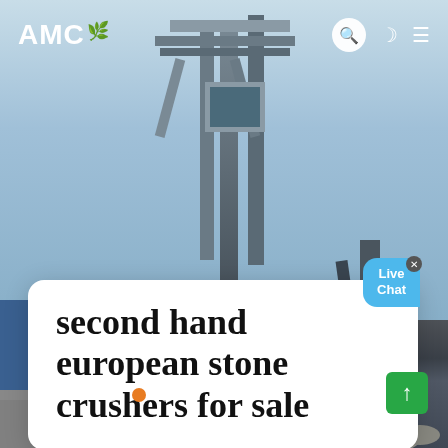[Figure (photo): Industrial stone crushing machinery in a quarry/plant setting, showing large metal structures, conveyors, and machinery components against a light blue sky background.]
AMC
second hand european stone crushers for sale